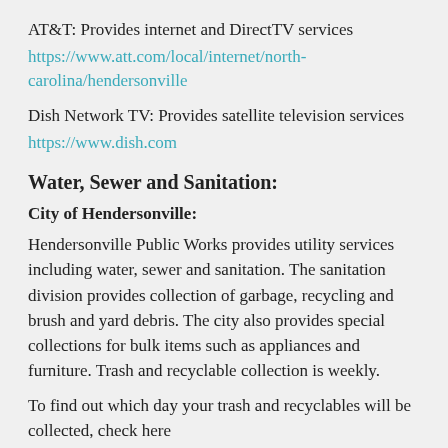AT&T: Provides internet and DirectTV services https://www.att.com/local/internet/north-carolina/hendersonville
Dish Network TV: Provides satellite television services https://www.dish.com
Water, Sewer and Sanitation:
City of Hendersonville:
Hendersonville Public Works provides utility services including water, sewer and sanitation. The sanitation division provides collection of garbage, recycling and brush and yard debris. The city also provides special collections for bulk items such as appliances and furniture. Trash and recyclable collection is weekly.
To find out which day your trash and recyclables will be collected, check here https://www.hendersonvillenc.gov/public-works/trash-and-recyclables-collection